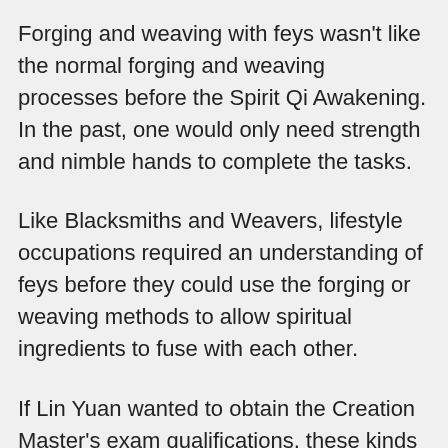Forging and weaving with feys wasn't like the normal forging and weaving processes before the Spirit Qi Awakening. In the past, one would only need strength and nimble hands to complete the tasks.
Like Blacksmiths and Weavers, lifestyle occupations required an understanding of feys before they could use the forging or weaving methods to allow spiritual ingredients to fuse with each other.
If Lin Yuan wanted to obtain the Creation Master's exam qualifications, these kinds of lifestyle-class occupations were obviously not within his capabilities.